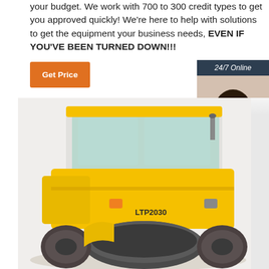your budget. We work with 700 to 300 credit types to get you approved quickly! We're here to help with solutions to get the equipment your business needs, EVEN IF YOU'VE BEEN TURNED DOWN!!!
[Figure (other): Orange 'Get Price' button]
[Figure (other): 24/7 Online customer service widget with woman wearing headset, 'Click here for free chat!' text, and orange QUOTATION button on dark navy background]
[Figure (photo): Yellow LTP2030 road roller / compactor construction equipment]